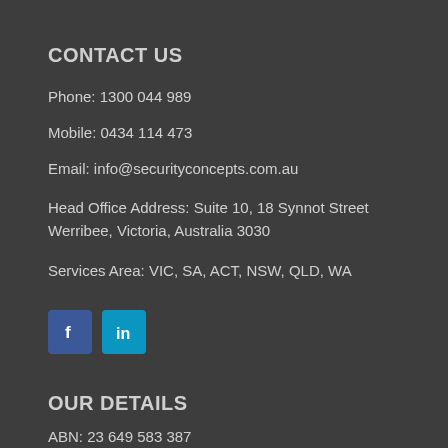CONTACT US
Phone: 1300 044 989
Mobile: 0434 114 473
Email: info@securityconcepts.com.au
Head Office Address: Suite 10, 18 Synnot Street Werribee, Victoria, Australia 3030
Services Area: VIC, SA, ACT, NSW, QLD, WA
[Figure (logo): Facebook and LinkedIn social media icons]
OUR DETAILS
ABN: 23 649 583 387